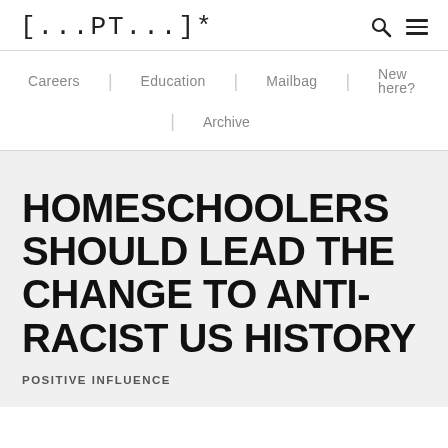[...PT...]*
Careers | Education | Mailbag | New here? | Archive
HOMESCHOOLERS SHOULD LEAD THE CHANGE TO ANTI-RACIST US HISTORY
POSITIVE INFLUENCE